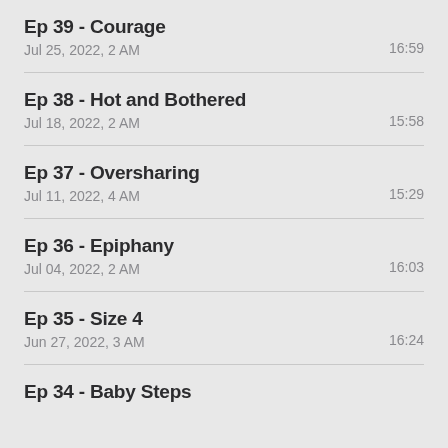Ep 39 - Courage
Jul 25, 2022, 2 AM
16:59
Ep 38 - Hot and Bothered
Jul 18, 2022, 2 AM
15:58
Ep 37 - Oversharing
Jul 11, 2022, 4 AM
15:29
Ep 36 - Epiphany
Jul 04, 2022, 2 AM
16:03
Ep 35 - Size 4
Jun 27, 2022, 3 AM
16:24
Ep 34 - Baby Steps